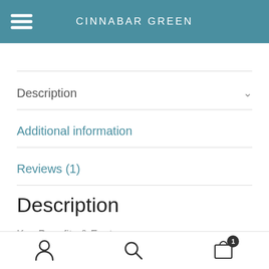CINNABAR GREEN
Description
Additional information
Reviews (1)
Description
Key Benefits & Features